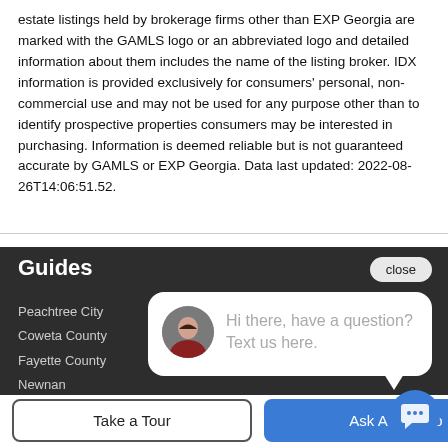estate listings held by brokerage firms other than EXP Georgia are marked with the GAMLS logo or an abbreviated logo and detailed information about them includes the name of the listing broker. IDX information is provided exclusively for consumers' personal, non-commercial use and may not be used for any purpose other than to identify prospective properties consumers may be interested in purchasing. Information is deemed reliable but is not guaranteed accurate by GAMLS or EXP Georgia. Data last updated: 2022-08-26T14:06:51.52.
Guides
Peachtree City
Coweta County
Fayette County
Newnan
Senoia
[Figure (screenshot): Chat widget bubble with avatar photo of a woman and text: Hi there, have a question? Text us here. Close button in top right.]